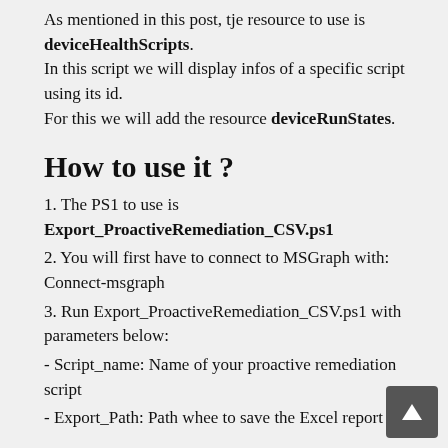As mentioned in this post, tje resource to use is deviceHealthScripts. In this script we will display infos of a specific script using its id. For this we will add the resource deviceRunStates.
How to use it ?
1. The PS1 to use is Export_ProactiveRemediation_CSV.ps1
2. You will first have to connect to MSGraph with: Connect-msgraph
3. Run Export_ProactiveRemediation_CSV.ps1 with parameters below:
- Script_name: Name of your proactive remediation script
- Export_Path: Path whee to save the Excel report